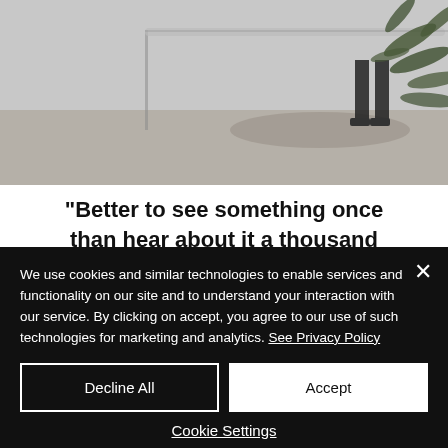[Figure (photo): Photo showing a glass railing, round table, and tropical plants in an indoor space with a person's legs visible]
"Better to see something once than hear about it a thousand times"
We use cookies and similar technologies to enable services and functionality on our site and to understand your interaction with our service. By clicking on accept, you agree to our use of such technologies for marketing and analytics. See Privacy Policy
Decline All
Accept
Cookie Settings